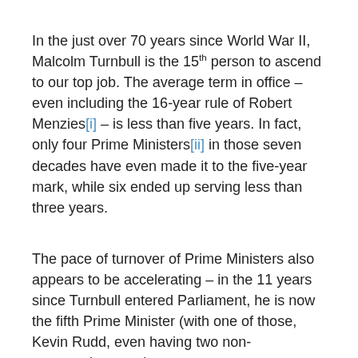In the just over 70 years since World War II, Malcolm Turnbull is the 15th person to ascend to our top job. The average term in office – even including the 16-year rule of Robert Menzies[i] – is less than five years. In fact, only four Prime Ministers[ii] in those seven decades have even made it to the five-year mark, while six ended up serving less than three years.
The pace of turnover of Prime Ministers also appears to be accelerating – in the 11 years since Turnbull entered Parliament, he is now the fifth Prime Minister (with one of those, Kevin Rudd, even having two non-consecutive turns).